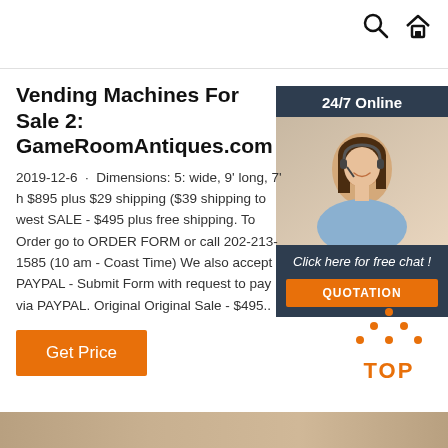Vending Machines For Sale 2: GameRoomAntiques.com
2019-12-6 · Dimensions: 5: wide, 9' long, 7' h $895 plus $29 shipping ($39 shipping to west SALE - $495 plus free shipping. To Order go to ORDER FORM or call 202-213-1585 (10 am - Coast Time) We also accept PAYPAL - Submit Form with request to pay via PAYPAL. Original Original Sale - $495..
[Figure (photo): Customer service representative woman with headset, smiling, with '24/7 Online' header and 'Click here for free chat!' text and orange QUOTATION button]
Get Price
[Figure (infographic): Orange dotted triangle 'TOP' button for back to top navigation]
[Figure (photo): Bottom image strip showing a partial photo]